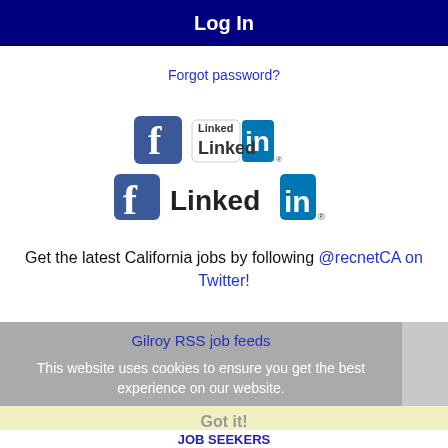Log In
Forgot password?
[Figure (logo): Facebook and LinkedIn social media logos]
Get the latest California jobs by following @recnetCA on Twitter!
Gilroy RSS job feeds
This website uses cookies to ensure you get the best experience on our website.
Learn more
Got it!
JOB SEEKERS
Search Gilroy jobs
Post...